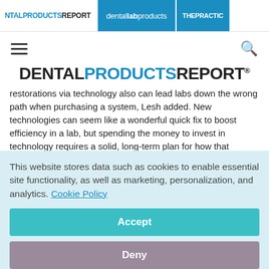DENTAL PRODUCTS REPORT | dental lab products | THE PRACTICE
[Figure (logo): DENTAL PRODUCTS REPORT main logo in black and blue]
restorations via technology also can lead labs down the wrong path when purchasing a system, Lesh added. New technologies can seem like a wonderful quick fix to boost efficiency in a lab, but spending the money to invest in technology requires a solid, long-term plan for how that
This website stores data such as cookies to enable essential site functionality, as well as marketing, personalization, and analytics. Cookie Policy
Accept
Deny